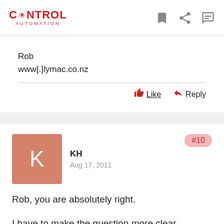CONTROL AUTOMATION
Rob
www[.]lymac.co.nz
Like   Reply
KH
Aug 17, 2011
#10
Rob, you are absolutely right.

I have to make the question more clear.